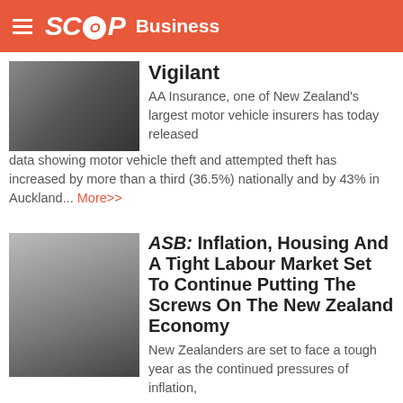SCOOP Business
Vigilant
AA Insurance, one of New Zealand's largest motor vehicle insurers has today released data showing motor vehicle theft and attempted theft has increased by more than a third (36.5%) nationally and by 43% in Auckland... More>>
ASB: Inflation, Housing And A Tight Labour Market Set To Continue Putting The Screws On The New Zealand Economy
New Zealanders are set to face a tough year as the continued pressures of inflation, housing and a tight labour market combine, according to the latest ASB Quarterly Economic Forecast. Growth is set to be quite weak, with the economy potentially flirting with recession... More>>